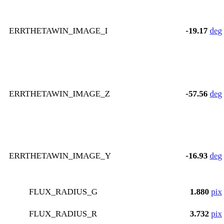ERRTHETAWIN_IMAGE_I   -19.17 deg
ERRTHETAWIN_IMAGE_Z   -57.56 deg
ERRTHETAWIN_IMAGE_Y   -16.93 deg
FLUX_RADIUS_G   1.880 pix
FLUX_RADIUS_R   3.732 pix